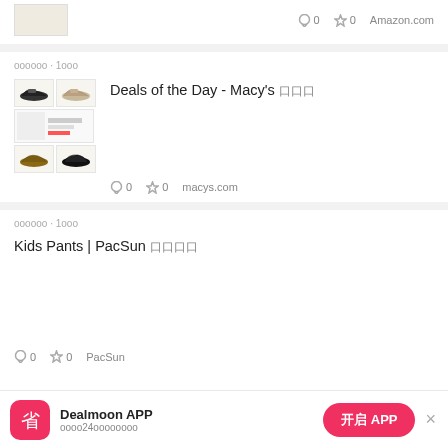○0  ☆0  Amazon.com
oooooo · 1ooo
Deals of the Day - Macy's 口口口
[Figure (photo): Thumbnail collage of shoes from Macy's deal page — two shoes on top row, a product listing in middle, two shoes on bottom row]
○0  ☆0  macys.com
oooooo · 1ooo
Kids Pants | PacSun 口口口口
○0  ☆0  PacSun
Dealmoon APP  oooo24oooooooo